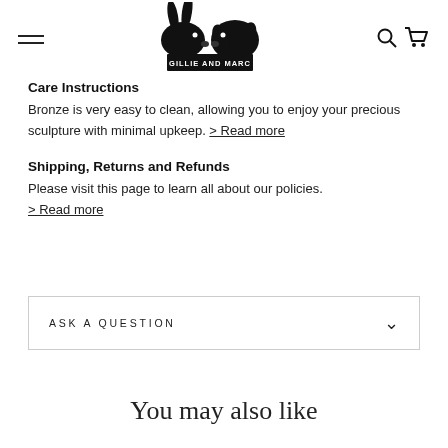Gillie and Marc — navigation header with hamburger menu, logo, search and cart icons
Care Instructions
Bronze is very easy to clean, allowing you to enjoy your precious sculpture with minimal upkeep. > Read more
Shipping, Returns and Refunds
Please visit this page to learn all about our policies. > Read more
ASK A QUESTION
You may also like